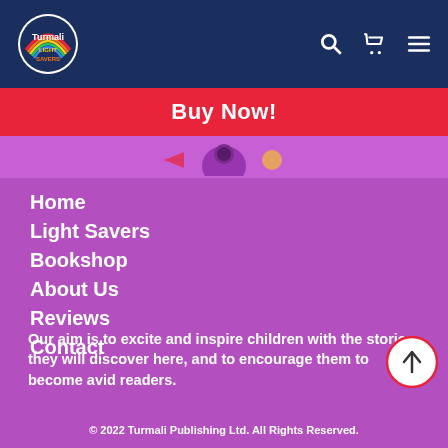Turmali Light Savers header with navigation icons
Buy Now!
Home
Light Savers
Bookshop
About Us
Reviews
Contact
Our aim is to excite and inspire children with the stories they will discover here, and to encourage them to become avid readers.
© 2022 Turmali Publishing Ltd. All Rights Reserved.